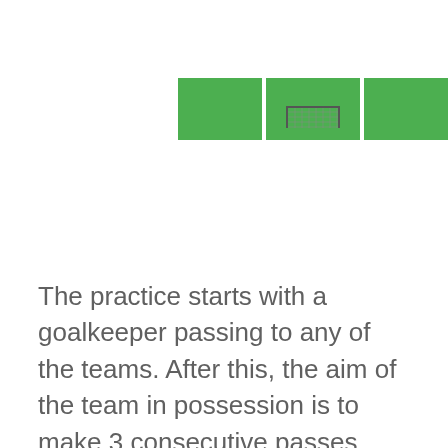[Figure (illustration): Top-down view of a soccer/football field diagram showing three green sections separated by white lines, with a goal/net structure visible in the center section.]
The practice starts with a goalkeeper passing to any of the teams. After this, the aim of the team in possession is to make 3 consecutive passes. This should be completed in the middle part of the